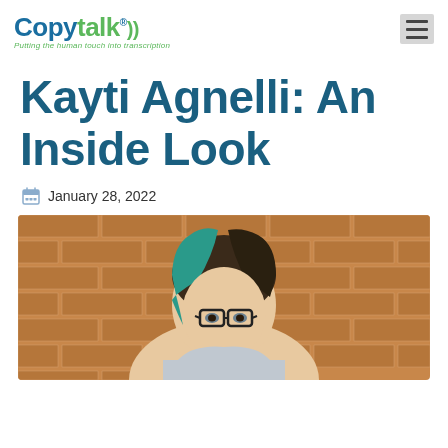Copytalk — Putting the human touch into transcription
Kayti Agnelli: An Inside Look
January 28, 2022
[Figure (photo): Portrait photo of Kayti Agnelli, a woman with teal/green dyed hair, wearing glasses, in front of a brick wall background]